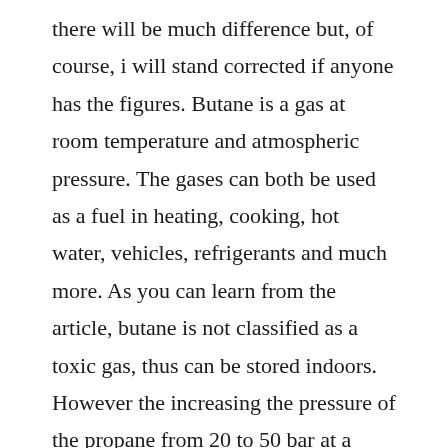there will be much difference but, of course, i will stand corrected if anyone has the figures. Butane is a gas at room temperature and atmospheric pressure. The gases can both be used as a fuel in heating, cooking, hot water, vehicles, refrigerants and much more. As you can learn from the article, butane is not classified as a toxic gas, thus can be stored indoors. However the increasing the pressure of the propane from 20 to 50 bar at a constant 25 c, also increases the chlorophyll from 3.
Difference between propane and butane